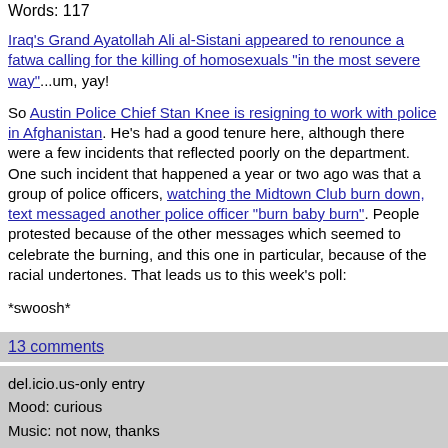Words: 117
Iraq's Grand Ayatollah Ali al-Sistani appeared to renounce a fatwa calling for the killing of homosexuals "in the most severe way"...um, yay!
So Austin Police Chief Stan Knee is resigning to work with police in Afghanistan. He's had a good tenure here, although there were a few incidents that reflected poorly on the department. One such incident that happened a year or two ago was that a group of police officers, watching the Midtown Club burn down, text messaged another police officer "burn baby burn". People protested because of the other messages which seemed to celebrate the burning, and this one in particular, because of the racial undertones. That leads us to this week's poll:
*swoosh*
13 comments
del.icio.us-only entry
Mood: curious
Music: not now, thanks
Posted on 2005-06-23 13:31:00
Tags: del.icio.us